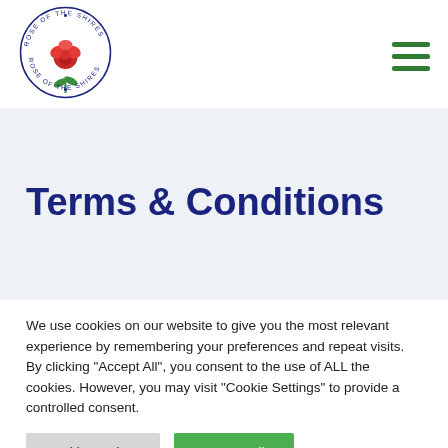[Figure (logo): Rose of the Shires circular logo with red rose illustration and text around the border]
Terms & Conditions
Terms & Conditions –
We use cookies on our website to give you the most relevant experience by remembering your preferences and repeat visits. By clicking "Accept All", you consent to the use of ALL the cookies. However, you may visit "Cookie Settings" to provide a controlled consent.
Cookie Settings
Accept All